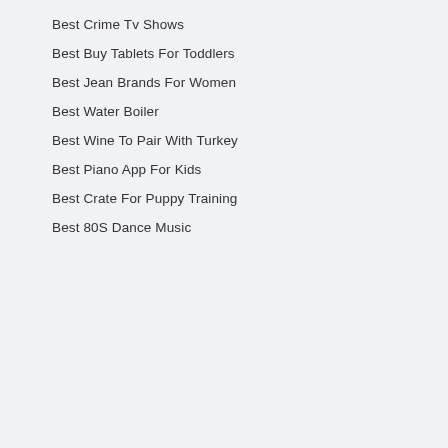Best Crime Tv Shows
Best Buy Tablets For Toddlers
Best Jean Brands For Women
Best Water Boiler
Best Wine To Pair With Turkey
Best Piano App For Kids
Best Crate For Puppy Training
Best 80S Dance Music